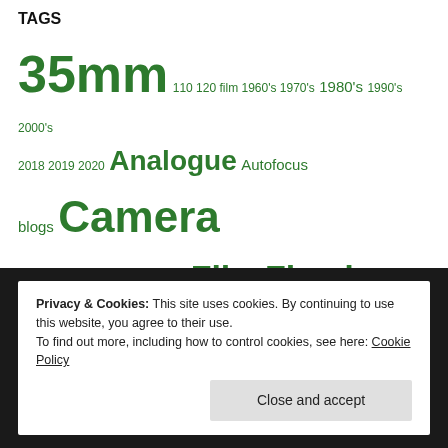TAGS
35mm 110 120 film 1960's 1970's 1980's 1990's 2000's 2018 2019 2020 Analogue Autofocus blogs Camera Cameras Canon China Digital Film Fixed-Focus Flash German Haking Halina History Hong Kong Japanese Kodak Lo-Fi Lomo Lomography New news Nikon Olympus P&S Plastic Poundland Camera Challenge Review Scale Focus SLR Toy Camera Yashica Zone Focus
Privacy & Cookies: This site uses cookies. By continuing to use this website, you agree to their use.
To find out more, including how to control cookies, see here: Cookie Policy
Close and accept